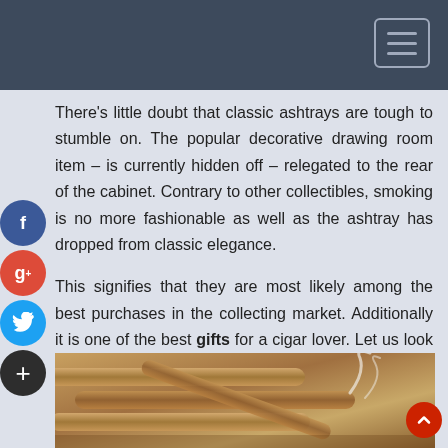There's little doubt that classic ashtrays are tough to stumble on. The popular decorative drawing room item – is currently hidden off – relegated to the rear of the cabinet. Contrary to other collectibles, smoking is no more fashionable as well as the ashtray has dropped from classic elegance.
This signifies that they are most likely among the best purchases in the collecting market. Additionally it is one of the best gifts for a cigar lover. Let us look a bit into the world of this antique  ashtray.
[Figure (photo): Close-up photo of cigars in a wooden ashtray with smoke rising]